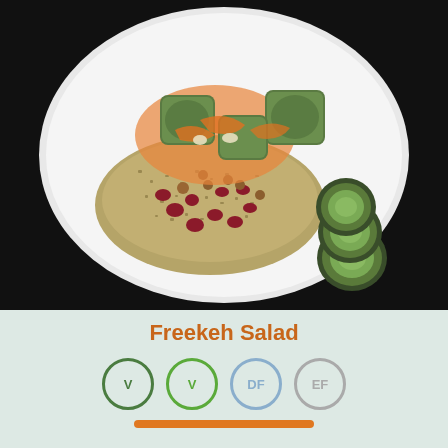[Figure (photo): A white plate with freekeh salad topped with dried cranberries and hazelnuts, accompanied by sautéed zucchini and carrots on top, and three sliced cucumber rounds arranged on the right side of the plate. Dark background.]
Freekeh Salad
[Figure (infographic): Four circular diet/allergen icons in a row: two green V (Vegan/Vegetarian) icons, one blue DF (Dairy Free) icon, one grey EF (Egg Free) icon. Below them is an orange rounded bar.]